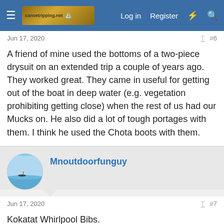Log in  Register
Jun 17, 2020  #6
A friend of mine used the bottoms of a two-piece drysuit on an extended trip a couple of years ago. They worked great. They came in useful for getting out of the boat in deep water (e.g. vegetation prohibiting getting close) when the rest of us had our Mucks on. He also did a lot of tough portages with them. I think he used the Chota boots with them.
Mnoutdoorfunguy
Jun 17, 2020  #7
Kokatat Whirlpool Bibs.
dramey